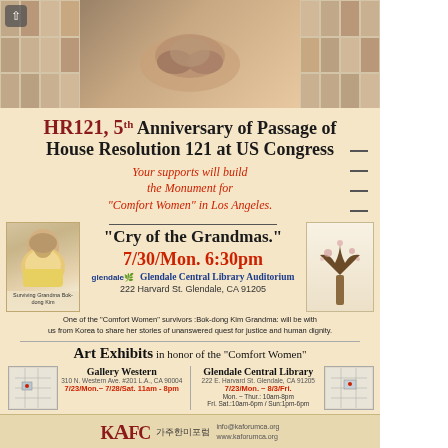[Figure (photo): Collage of elderly Korean grandmothers' portraits arranged in a grid on left and right sides, with a central image of aged hands holding something, on a warm tan/brown background.]
HR121, 5th Anniversary of Passage of House Resolution 121 at US Congress
Your supports will build the Monument for "Comfort Women" in Los Angeles.
[Figure (photo): Photo of surviving grandma Bok-dong Kim, an elderly Korean woman wearing a yellow vest holding a sign at a protest.]
"Cry of the Grandmas."
7/30/Mon. 6:30pm
Glendale Central Library Auditorium
222 Harvard St. Glendale, CA 91205
[Figure (illustration): Illustration of a bare tree with sparse blossoms/leaves against a light background.]
One of the "Comfort Women" survivors :Bok-dong Kim Grandma: will be with us from Korea to share her stories of unanswered quest for justice and human dignity.
Art Exhibits in honor of the "Comfort Women"
| Gallery Western | Glendale Central Library |
| --- | --- |
| 310 N. Western Ave. #201 L.A., CA 90004 | 222 E. Harvard St. Glendale, CA 91205 |
| 7/23/Mon.~ 7/28/Sat. 11am - 8pm | 7/23/Mon. ~ 8/3/Fri.
Mon. ~ Thur.: 10am-8pm
Fri. Sat.:10am-6pm / Sun:1pm-6pm |
KAFC 가주한미포럼 info@kaforumca.org www.kaforumca.org